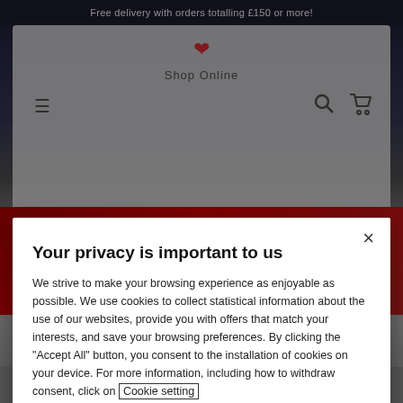Free delivery with orders totalling £150 or more!
[Figure (screenshot): Website header with hamburger menu, Shop Online text, heart logo, search icon, and shopping cart icon on a light gray background, with a red car image partially visible below]
Your privacy is important to us
We strive to make your browsing experience as enjoyable as possible. We use cookies to collect statistical information about the use of our websites, provide you with offers that match your interests, and save your browsing preferences. By clicking the "Accept All" button, you consent to the installation of cookies on your device. For more information, including how to withdraw consent, click on Cookie setting
Cookies Settings
ACCEPT ALL COOKIES